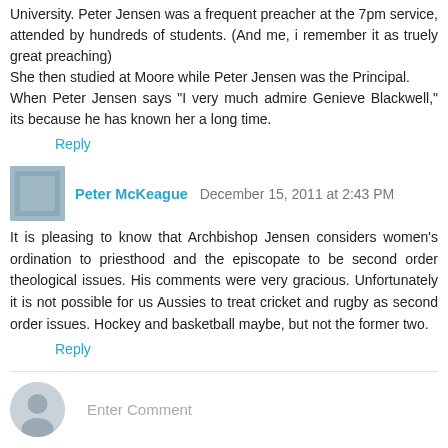University. Peter Jensen was a frequent preacher at the 7pm service, attended by hundreds of students. (And me, i remember it as truely great preaching)
She then studied at Moore while Peter Jensen was the Principal.
When Peter Jensen says "I very much admire Genieve Blackwell," its because he has known her a long time.
Reply
Peter McKeague December 15, 2011 at 2:43 PM
It is pleasing to know that Archbishop Jensen considers women's ordination to priesthood and the episcopate to be second order theological issues. His comments were very gracious. Unfortunately it is not possible for us Aussies to treat cricket and rugby as second order issues. Hockey and basketball maybe, but not the former two.
Reply
Enter Comment